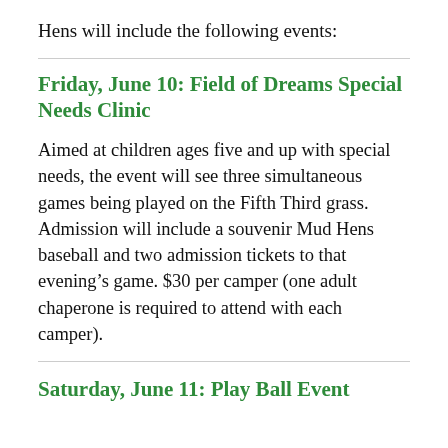Hens will include the following events:
Friday, June 10: Field of Dreams Special Needs Clinic
Aimed at children ages five and up with special needs, the event will see three simultaneous games being played on the Fifth Third grass. Admission will include a souvenir Mud Hens baseball and two admission tickets to that evening's game. $30 per camper (one adult chaperone is required to attend with each camper).
Saturday, June 11: Play Ball Event